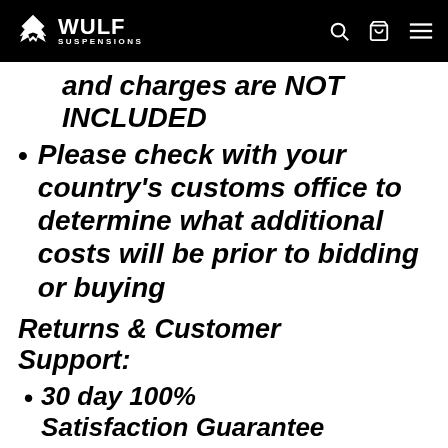WULF SUSPENSIONS
and charges are NOT INCLUDED
Please check with your country's customs office to determine what additional costs will be prior to bidding or buying
Returns & Customer Support:
30 day 100% Satisfaction Guarantee